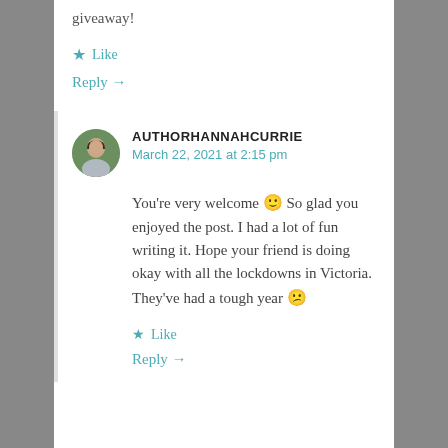giveaway!
★ Like
Reply →
AUTHORHANNAHCURRIE
March 22, 2021 at 2:15 pm
You're very welcome 🙂 So glad you enjoyed the post. I had a lot of fun writing it. Hope your friend is doing okay with all the lockdowns in Victoria. They've had a tough year 😕
★ Like
Reply →